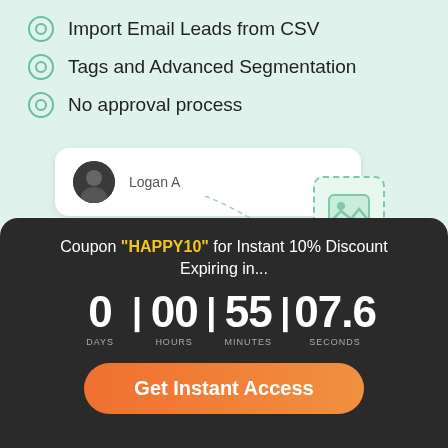Import Email Leads from CSV
Tags and Advanced Segmentation
No approval process
[Figure (screenshot): UI mockup showing a contact card with avatar labeled 'Logan A', a dashed arc connector, and an image placeholder icon with green mountain/photo icon. Below is a partial white chat interface area.]
Coupon "HAPPY10" for Instant 10% Discount Expiring in...
0 DAYS | 00 HOURS | 55 MINUTES | 07.6 SECONDS
Get Instant Access